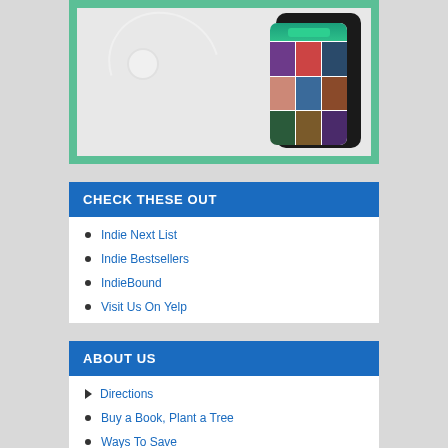[Figure (photo): Smartphone with a music/audiobook app on screen, surrounded by white earbuds with cord, on a green background]
CHECK THESE OUT
Indie Next List
Indie Bestsellers
IndieBound
Visit Us On Yelp
ABOUT US
Directions
Buy a Book, Plant a Tree
Ways To Save
Privacy and Security